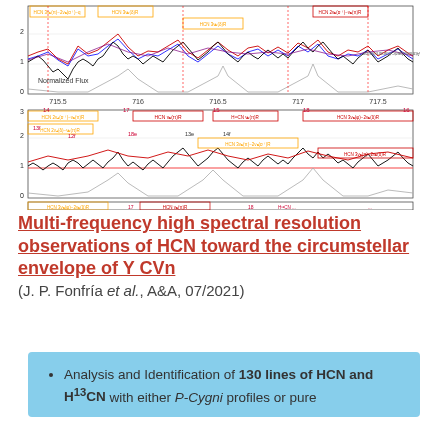[Figure (continuous-plot): Multi-panel infrared spectral plot showing normalized flux vs wavenumber for circumstellar envelope of Y CVn. Three panels displaying wavelength ranges ~715-717.5, ~756-762, and a partial third panel. Multiple colored spectral lines (black, red, blue, purple) with orange and red labeled boxes indicating HCN vibrational transitions (3v2(pi)-2v2(sigma+), 3v2(phi)-2v2(delta), 2v4(sigma+)-v2(pi), v2(pi), H13CN lines). Gray atmospheric transmission shown at bottom. Y-axis: Normalized Flux 0-3. Right axis: Atmospheric transmission.]
Multi-frequency high spectral resolution observations of HCN toward the circumstellar envelope of Y CVn (J. P. Fonfría et al., A&A, 07/2021)
Analysis and Identification of 130 lines of HCN and H13CN with either P-Cygni profiles or pure